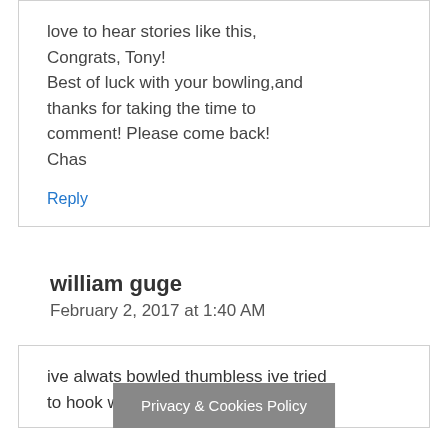love to hear stories like this, Congrats, Tony! Best of luck with your bowling,and thanks for taking the time to comment! Please come back! Chas
Reply
william guge
February 2, 2017 at 1:40 AM
ive alwats bowled thumbless ive tried to hook with get
Privacy & Cookies Policy